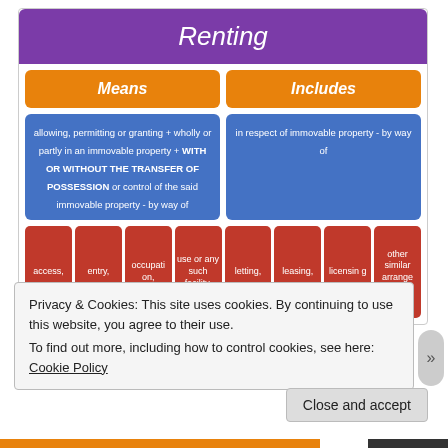Renting
[Figure (infographic): Infographic explaining 'Renting': two columns 'Means' and 'Includes', each with descriptive text below. Under 'Means': access, entry, occupation, use or any such facility. Under 'Includes': letting, leasing, licensing, other similar arrangements.]
Privacy & Cookies: This site uses cookies. By continuing to use this website, you agree to their use.
To find out more, including how to control cookies, see here: Cookie Policy
Close and accept